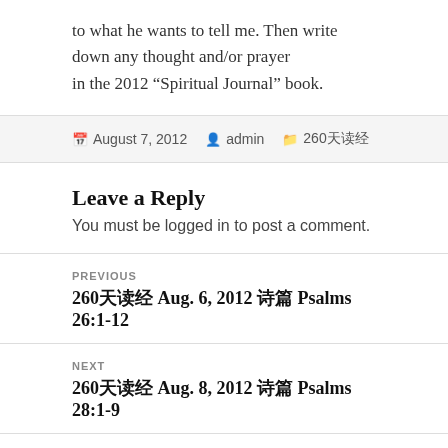to what he wants to tell me. Then write down any thought and/or prayer in the 2012 “Spiritual Journal” book.
August 7, 2012  admin  260天读经
Leave a Reply
You must be logged in to post a comment.
PREVIOUS
260天读经 Aug. 6, 2012 诗篇 Psalms 26:1-12
NEXT
260天读经 Aug. 8, 2012 诗篇 Psalms 28:1-9